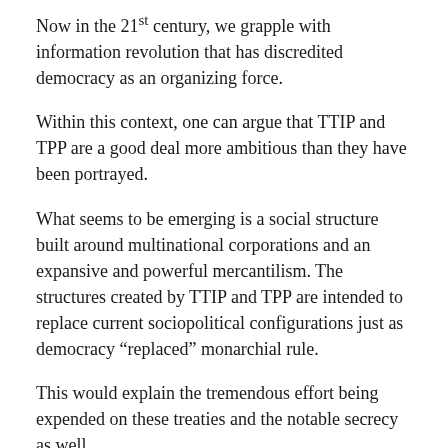Now in the 21st century, we grapple with information revolution that has discredited democracy as an organizing force.
Within this context, one can argue that TTIP and TPP are a good deal more ambitious than they have been portrayed.
What seems to be emerging is a social structure built around multinational corporations and an expansive and powerful mercantilism. The structures created by TTIP and TPP are intended to replace current sociopolitical configurations just as democracy “replaced” monarchial rule.
This would explain the tremendous effort being expended on these treaties and the notable secrecy as well.
These treaties promote a kind of authoritarian corporatism. It is not a pleasant thought, but increasingly seems to be reality.
It could be that the agreements are considerably watered down. But the forces behind them will then begin the process of